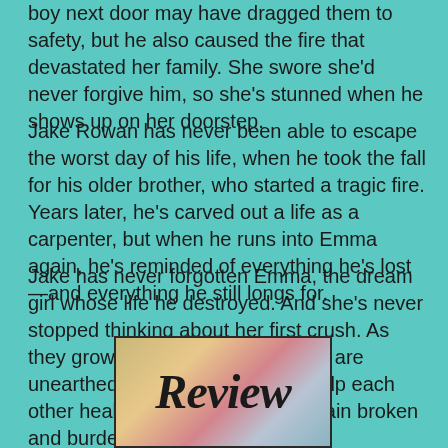boy next door may have dragged them to safety, but he also caused the fire that devastated her family. She swore she'd never forgive him, so she's stunned when he shows up on her doorstep.
Jake Rowan has never been able to escape the worst day of his life, when he took the fall for his older brother, who started a tragic fire. Years later, he's carved out a life as a carpenter, but when he runs into Emma again, he's reminded of everything he's lost—and everything he still longs for.
Jake has never forgotten Emma, the dream girl whose life he destroyed. And she's never stopped thinking about her first crush. As they grow closer—and old secrets are unearthed—will they be able to help each other heal, or will their hearts remain broken and burdened by the past?
[Figure (illustration): A decorative 'Review' script text logo on a watercolor-style background with pinks, yellows, and blues, inside a dark border frame.]